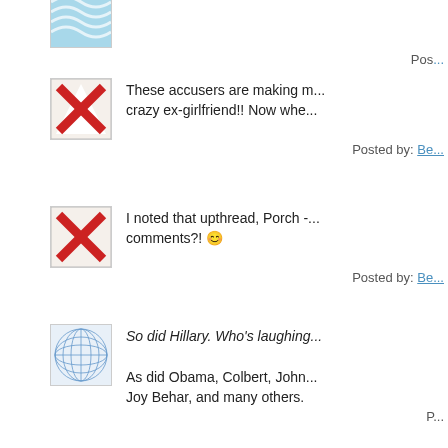[Figure (illustration): Blue wavy lines avatar (top, partially visible)]
Pos...
[Figure (illustration): Red X on white flag avatar]
These accusers are making m... crazy ex-girlfriend!! Now whe...
Posted by: Be...
[Figure (illustration): Red X on white flag avatar]
I noted that upthread, Porch - ... comments?! 😊
Posted by: Be...
[Figure (illustration): Blue geometric grid sphere avatar]
So did Hillary. Who's laughing...
As did Obama, Colbert, John... Joy Behar, and many others.
P...
[Figure (illustration): Green spiral pattern avatar]
Beasts, the aforementioned e...
[Figure (illustration): Blue wavy lines avatar (bottom, partially visible)]